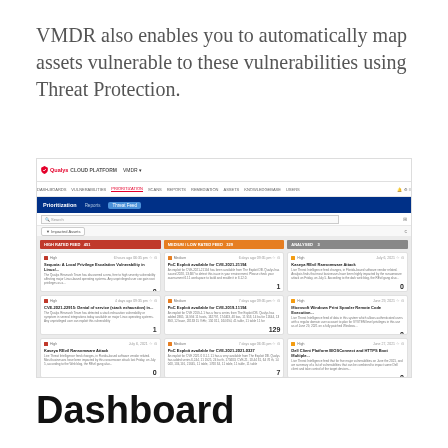VMDR also enables you to automatically map assets vulnerable to these vulnerabilities using Threat Protection.
[Figure (screenshot): Qualys Cloud Platform VMDR Prioritization Threat Feed dashboard screenshot showing vulnerability cards in three columns: High Rated Feed (red header, count 451), Medium/Low Rated Feed (orange header, count 329), and Analyzed (gray header, count 3). Cards show CVE exploits and ransomware attack entries with counts like 0, 1, 129, 7, 0.]
Dashboard